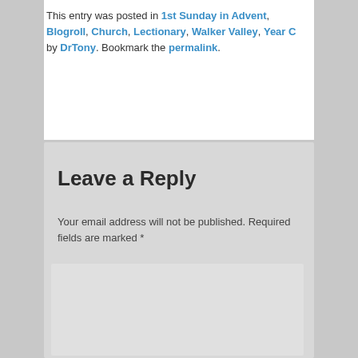This entry was posted in 1st Sunday in Advent, Blogroll, Church, Lectionary, Walker Valley, Year C by DrTony. Bookmark the permalink.
Leave a Reply
Your email address will not be published. Required fields are marked *
Comment *